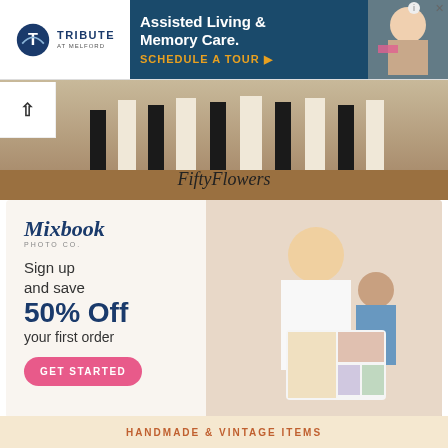[Figure (advertisement): Tribute at Melford assisted living ad banner with logo on left, dark teal background with 'Assisted Living & Memory Care. SCHEDULE A TOUR' text, and photo of elderly person on right]
[Figure (photo): FiftyFlowers banner showing wedding party feet and dresses with FiftyFlowers logo in cursive]
[Figure (advertisement): Mixbook Photo Co. ad: logo on beige background with 'Sign up and save 50% Off your first order' text and pink GET STARTED button, woman and child looking at photo book on right]
HANDMADE & VINTAGE ITEMS